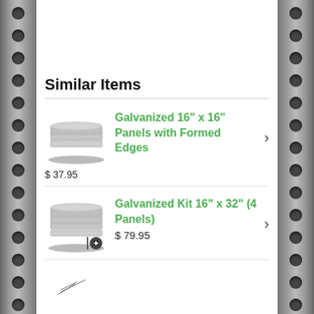Similar Items
Galvanized 16" x 16" Panels with Formed Edges — $ 37.95
Galvanized Kit 16" x 32" (4 Panels) — $ 79.95